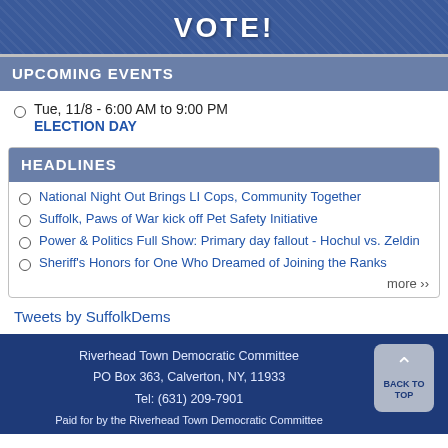VOTE!
UPCOMING EVENTS
Tue, 11/8 - 6:00 AM to 9:00 PM
ELECTION DAY
HEADLINES
National Night Out Brings LI Cops, Community Together
Suffolk, Paws of War kick off Pet Safety Initiative
Power & Politics Full Show: Primary day fallout - Hochul vs. Zeldin
Sheriff's Honors for One Who Dreamed of Joining the Ranks
more ››
Tweets by SuffolkDems
Riverhead Town Democratic Committee
PO Box 363, Calverton, NY, 11933
Tel: (631) 209-7901
Paid for by the Riverhead Town Democratic Committee